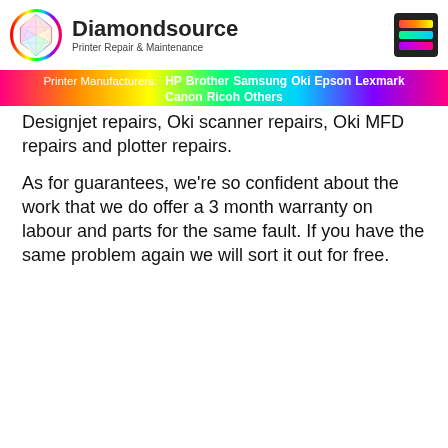[Figure (logo): Diamondsource Printer Repair & Maintenance logo with rainbow diamond circle icon and hamburger menu icon on right]
Printer Manufacturers: HP  Brother  Samsung  Oki  Epson  Lexmark  Canon  Ricoh  Others
Designjet repairs, Oki scanner repairs, Oki MFD repairs and plotter repairs.
As for guarantees, we're so confident about the work that we do offer a 3 month warranty on labour and parts for the same fault. If you have the same problem again we will sort it out for free.